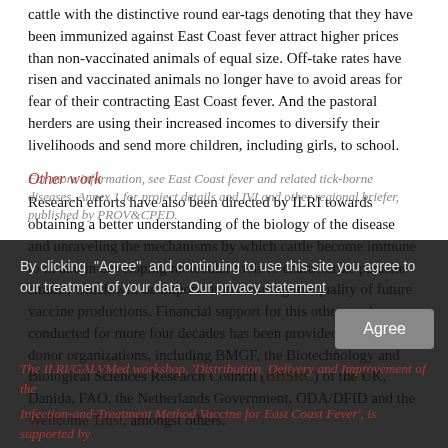cattle with the distinctive round ear-tags denoting that they have been immunized against East Coast fever attract higher prices than non-vaccinated animals of equal size. Off-take rates have risen and vaccinated animals no longer have to avoid areas for fear of their contracting East Coast fever. And the pastoral herders are using their increased incomes to diversify their livelihoods and send more children, including girls, to school.
Other work
Research efforts have also been directed by ILRI towards obtaining a better understanding of the biology of the disease and unraveling the mechanisms by which cattle become immune to it, and in developing molecular tools to characterize parasite strains, which will be important in ensuring the quality of future vaccine productions. Financial support for this other work conducted for more four decades has been provided by many donor organizations, including BMGF, the Biotechnology and Biological Sciences Research Council (BBSRC) of the UK, Danida, FAO, the Netherlands Government, ODA/DFID and the Wellcome Trust, amongst others.
By clicking "Agree" and continuing to use this site you agree to our treatment of your data. Our privacy statement
The ILRI/GALVMed workshop, 'Distribution, Delivery and Improvement of the Infection-and-Treatment Method Vaccine for East Coast Fever', is supported by